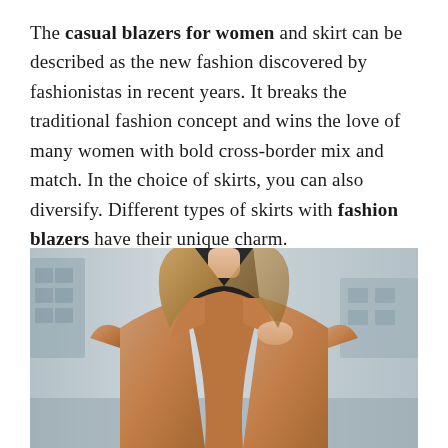The casual blazers for women and skirt can be described as the new fashion discovered by fashionistas in recent years. It breaks the traditional fashion concept and wins the love of many women with bold cross-border mix and match. In the choice of skirts, you can also diversify. Different types of skirts with fashion blazers have their unique charm.
[Figure (photo): A woman wearing a camel-colored blazer over a black turtleneck, photographed outdoors with a blurred urban background.]